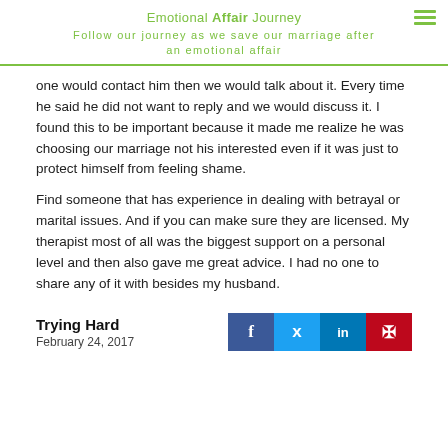Emotional Affair Journey
Follow our journey as we save our marriage after an emotional affair
one would contact him then we would talk about it. Every time he said he did not want to reply and we would discuss it. I found this to be important because it made me realize he was choosing our marriage not his interested even if it was just to protect himself from feeling shame.
Find someone that has experience in dealing with betrayal or marital issues. And if you can make sure they are licensed. My therapist most of all was the biggest support on a personal level and then also gave me great advice. I had no one to share any of it with besides my husband.
Trying Hard
February 24, 2017